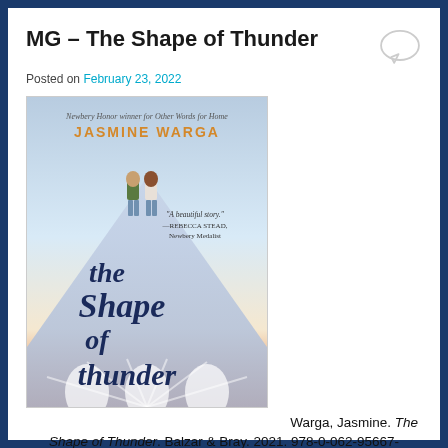MG – The Shape of Thunder
Posted on February 23, 2022
[Figure (photo): Book cover of 'The Shape of Thunder' by Jasmine Warga. Shows two girls standing on a mountain/hill shape with the title in stylized script lettering. Blurb: 'A beautiful story.' —REBECCA STEAD, Newbery Medalist. Top note: Newbery Honor winner for Other Words for Home. JASMINE WARGA.]
Warga, Jasmine. The Shape of Thunder. Balzar & Bray. 2021. 978-0-062-95667-